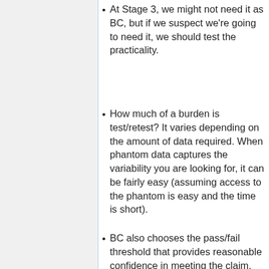At Stage 3, we might not need it as BC, but if we suspect we're going to need it, we should test the practicality.
How much of a burden is test/retest? It varies depending on the amount of data required. When phantom data captures the variability you are looking for, it can be fairly easy (assuming access to the phantom is easy and the time is short).
BC also chooses the pass/fail threshold that provides reasonable confidence in meeting the claim.